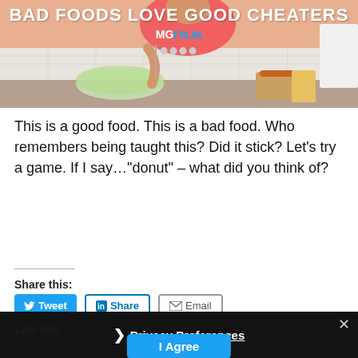[Figure (photo): Hero banner image with text 'BAD FOODS LOVE GOOD CHEATERS' and MG FitLife logo overlay on a photo of a woman in a kitchen with salad and burger/fries]
This is a good food. This is a bad food. Who remembers being taught this? Did it stick? Let’s try a game. If I say…“donut” – what did you think of?
Share this:
[Figure (screenshot): Share buttons: Tweet (Twitter/blue), Share (LinkedIn), Email]
Like this:
Loading…
[Figure (screenshot): Privacy Preferences popup overlay with close X button, chevron arrow, 'Privacy Preferences' underlined link, and 'I Agree' blue button]